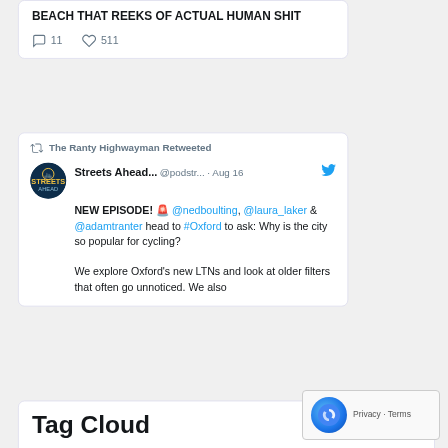BEACH THAT REEKS OF ACTUAL HUMAN SHIT
11 replies · 511 likes
The Ranty Highwayman Retweeted
Streets Ahead... @podstr... · Aug 16
NEW EPISODE! 🚨 @nedboulting, @laura_laker & @adamtranter head to #Oxford to ask: Why is the city so popular for cycling?

We explore Oxford's new LTNs and look at older filters that often go unnoticed. We also
Tag Cloud
A46  A47  ADEPT  aia  air quality  amey  balfour beatty  Balfour Beatty Living Places  BEAR Scotland  Brexit  Devon County Council  drainage  EV charging  e weather  fm conway  Gloucestershire County Council  highways  MyMobileWorkers